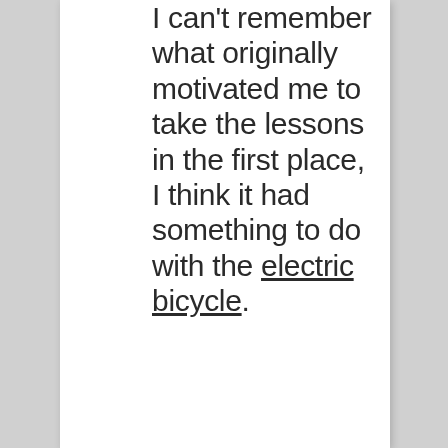I can't remember what originally motivated me to take the lessons in the first place, I think it had something to do with the electric bicycle.